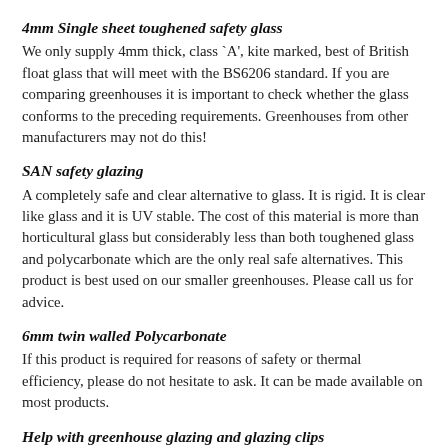4mm Single sheet toughened safety glass
We only supply 4mm thick, class `A', kite marked, best of British float glass that will meet with the BS6206 standard. If you are comparing greenhouses it is important to check whether the glass conforms to the preceding requirements. Greenhouses from other manufacturers may not do this!
SAN safety glazing
A completely safe and clear alternative to glass. It is rigid. It is clear like glass and it is UV stable. The cost of this material is more than horticultural glass but considerably less than both toughened glass and polycarbonate which are the only real safe alternatives. This product is best used on our smaller greenhouses. Please call us for advice.
6mm twin walled Polycarbonate
If this product is required for reasons of safety or thermal efficiency, please do not hesitate to ask. It can be made available on most products.
Help with greenhouse glazing and glazing clips
Be careful, all glass is dangerous and horticultural glass in particular. It is advisable to use gloves when handling glass. It is best to glaze the greenhouse on a day when the wind is low, and